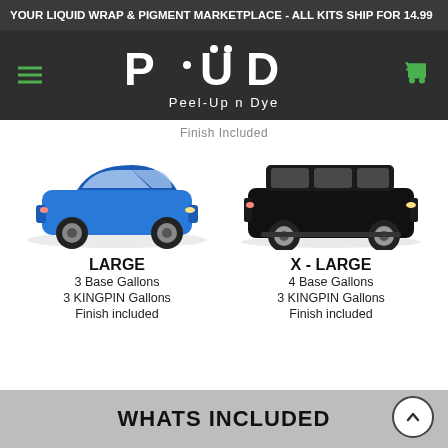YOUR LIQUID WRAP & PIGMENT MARKETPLACE - ALL KITS SHIP FOR 14.99
[Figure (logo): Peel-Up n Dye logo with navigation bar including hamburger menu icon and shopping cart icon]
Finish Included
[Figure (photo): Blue Porsche Macan SUV side view]
LARGE
3 Base Gallons
3 KINGPIN Gallons
Finish included
[Figure (photo): Black large SUV (GMC Yukon or similar) side view]
X - LARGE
4 Base Gallons
3 KINGPIN Gallons
Finish included
WHATS INCLUDED